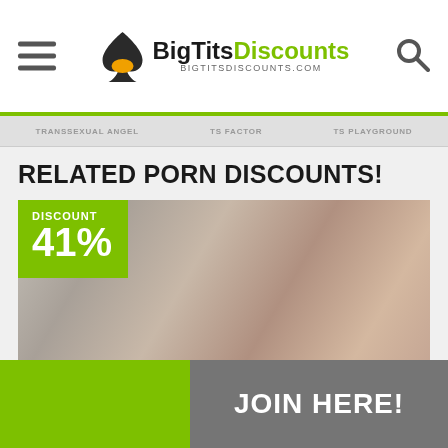BigTitsDiscounts BIGTITSDISCOUNTS.COM
TRANSSEXUAL ANGEL   TS FACTOR   TS PLAYGROUND
RELATED PORN DISCOUNTS!
[Figure (photo): Promotional adult content image with a green discount badge showing DISCOUNT 41%]
JOIN HERE!